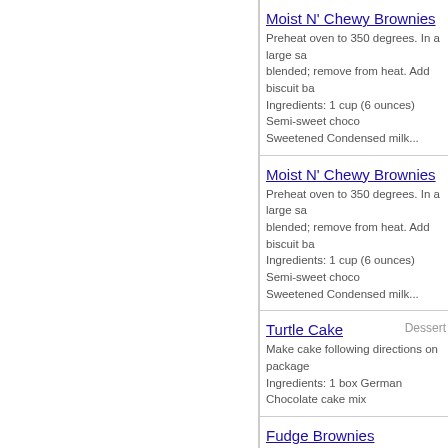Moist N' Chewy Brownies - Preheat oven to 350 degrees. In a large sa blended; remove from heat. Add biscuit ba Ingredients: 1 cup (6 ounces) Semi-sweet choco Sweetened Condensed milk...
Moist N' Chewy Brownies - Preheat oven to 350 degrees. In a large sa blended; remove from heat. Add biscuit ba Ingredients: 1 cup (6 ounces) Semi-sweet choco Sweetened Condensed milk...
Turtle Cake - Dessert - Make cake following directions on package Ingredients: 1 box German Chocolate cake mix
Fudge Brownies - Heat oven to 350 degrees. Grease square chocolate in small saucepan over low heat Ingredients: 1 cup butter or margarine, 4 square
Beef Pie - Entrees - M - In a 10-inch skillet in the hot butter gently c in mushrooms, bouillon granules and flour Ingredients: 2 tablespoons butter, 1 medium on coarsely grated in a food processor...
Crunchy Apple Dessert with A - Heat oven to 350 degrees. Grease square Lightly press 2/3 of the crumbly mixture in p Ingredients: 1-1/2 cups Bisquick baking mix, 1